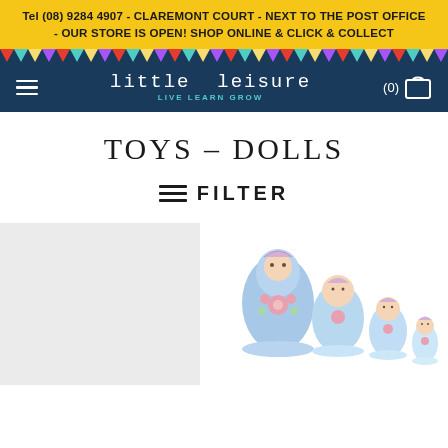Tel (08) 9284 4907 - CLAREMONT COURT - NEXT TO THE POST OFFICE - OUR STORE IS OPEN! SHOP ONLINE & CLICK & COLLECT
[Figure (screenshot): Little Leisure logo navigation bar with hamburger menu, logo text 'little leisure LIVE LEARN GROW', and cart icon showing (0) items]
TOYS – DOLLS
≡ FILTER
[Figure (photo): Two product images: left placeholder grey box, right showing blue Russian nesting dolls (matryoshka) in descending sizes]